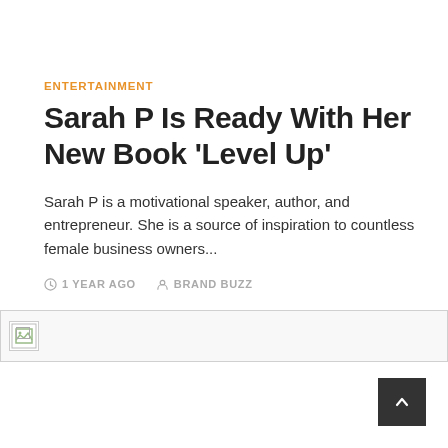ENTERTAINMENT
Sarah P Is Ready With Her New Book 'Level Up'
Sarah P is a motivational speaker, author, and entrepreneur. She is a source of inspiration to countless female business owners...
1 YEAR AGO   BRAND BUZZ
[Figure (other): Broken image placeholder with a small document icon on left side, full-width horizontal bar with border]
[Figure (other): Dark grey scroll-to-top button with upward chevron arrow, positioned bottom right]